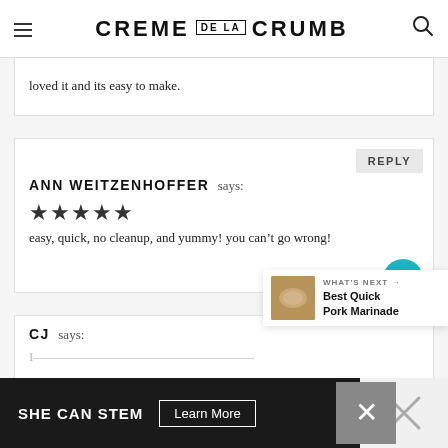CREME DE LA CRUMB
loved it and its easy to make.
REPLY
ANN WEITZENHOFFER says:
[Figure (other): Five filled star rating icons]
easy, quick, no cleanup, and yummy! you can’t go wrong!
CJ says:
[Figure (other): What's Next panel with pork marinade image: WHAT'S NEXT → Best Quick Pork Marinade]
[Figure (other): Ad banner: SHE CAN STEM Learn More with close X button]